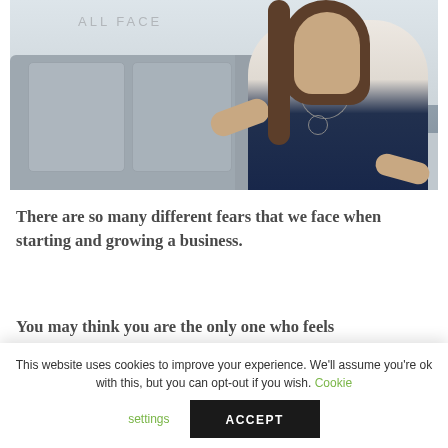[Figure (photo): A woman with long hair wearing a white sleeveless top and dark jeans, sitting on a grey sofa. Text 'ALL FACE' appears in the upper left of the image.]
There are so many different fears that we face when starting and growing a business.
You may think you are the only one who feels
This website uses cookies to improve your experience. We'll assume you're ok with this, but you can opt-out if you wish. Cookie settings ACCEPT